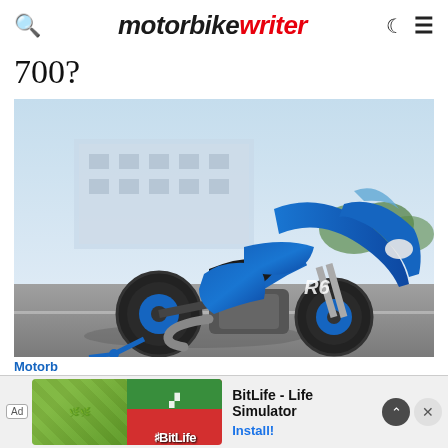motorbike writer
700?
[Figure (photo): A blue Yamaha YZF-R6 sportbike parked on a race track surface with a blurred building and trees in the background. The motorcycle is predominantly blue with black accents and a grey exhaust.]
Motorb...
BitLife - Life Simulator  Install!